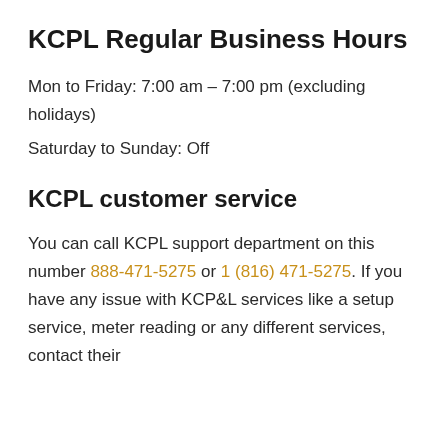KCPL Regular Business Hours
Mon to Friday: 7:00 am – 7:00 pm (excluding holidays)
Saturday to Sunday: Off
KCPL customer service
You can call KCPL support department on this number 888-471-5275 or 1 (816) 471-5275. If you have any issue with KCP&L services like a setup service, meter reading or any different services, contact their